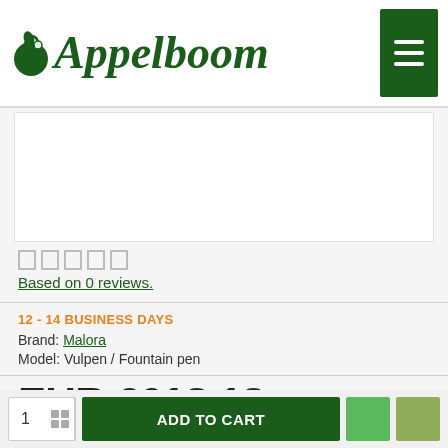Appelboom
[Figure (photo): Product image placeholder (white box)]
Based on 0 reviews.
12 - 14 BUSINESS DAYS
Brand: Malora
Model: Vulpen / Fountain pen
EUR €618.18
Ex Tax: EUR €618.18